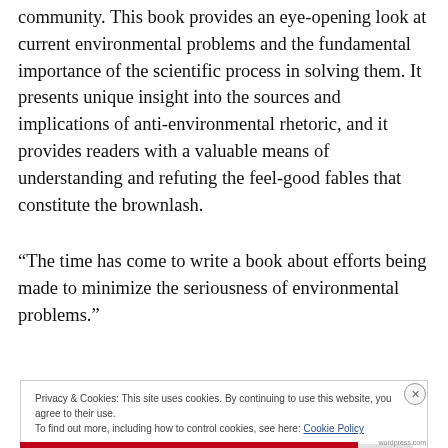community. This book provides an eye-opening look at current environmental problems and the fundamental importance of the scientific process in solving them. It presents unique insight into the sources and implications of anti-environmental rhetoric, and it provides readers with a valuable means of understanding and refuting the feel-good fables that constitute the brownlash.
“The time has come to write a book about efforts being made to minimize the seriousness of environmental problems.”
Privacy & Cookies: This site uses cookies. By continuing to use this website, you agree to their use.
To find out more, including how to control cookies, see here: Cookie Policy